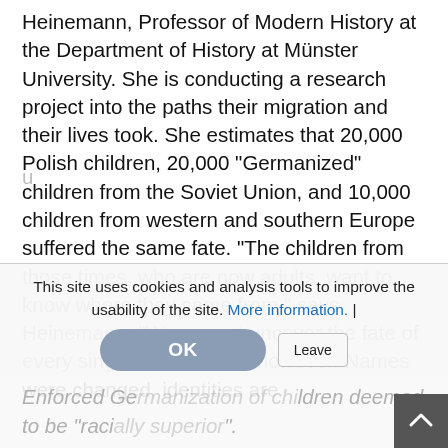Heinemann, Professor of Modern History at the Department of History at Münster University. She is conducting a research project into the paths their migration and their lives took. She estimates that 20,000 Polish children, 20,000 "Germanized" children from the Soviet Union, and 10,000 children from western and southern Europe suffered the same fate. "The children from those times, who are now adults, want to know where they came from," says Heinemann. "We cannot uncover the fate of every single one of them, however. Names were changed, identities are
This site uses cookies and analysis tools to improve the usability of the site. More information. |
Enforced Germanization of children deemed to be "racially superior".